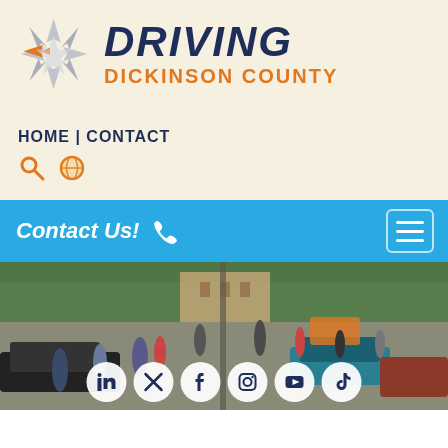[Figure (logo): Driving Dickinson County logo — star/compass rose icon with orange arrow, text DRIVING in bold dark navy italic, DICKINSON COUNTY in orange below]
HOME | CONTACT
[Figure (screenshot): Blue navigation bar with 'Contact Us!' text and phone icon on left, hamburger menu button on right]
[Figure (photo): Outdoor car show with classic cars lined up on a street, crowds of people walking between vehicles, trees and brick building in background. Social media icons overlay: LinkedIn, Twitter, Facebook, Instagram, YouTube, TikTok]
[Figure (infographic): Social media icon row: LinkedIn, Twitter/X, Facebook, Instagram, YouTube, TikTok — white circles on photo background]